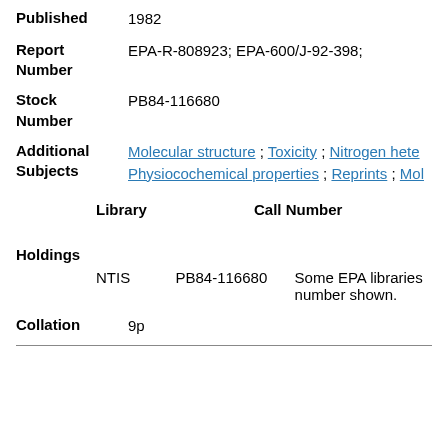Published: 1982
Report Number: EPA-R-808923; EPA-600/J-92-398;
Stock Number: PB84-116680
Additional Subjects: Molecular structure ; Toxicity ; Nitrogen hete... ; Physiocochemical properties ; Reprints ; Mol...
| Library | Call Number | Additional Info |
| --- | --- | --- |
| NTIS | PB84-116680 | Some EPA libraries... number shown. |
Holdings
Collation: 9p